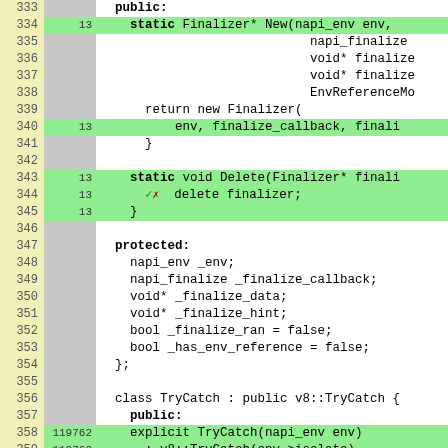[Figure (screenshot): Code coverage view showing C++ source code lines 333-359 with line numbers, coverage counts, and code content. Green highlighted lines indicate covered code. Lines include Finalizer class static methods New and Delete, protected member variables, and TryCatch class definition.]